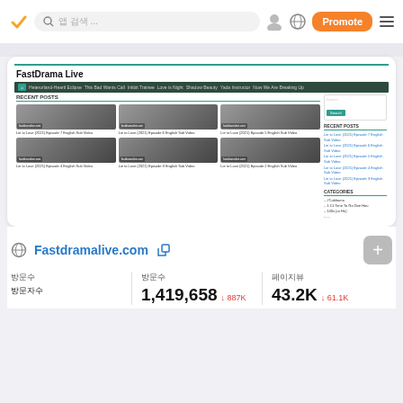Navigation bar with logo, search, profile, globe, Promote button, hamburger menu
[Figure (screenshot): FastDrama Live website screenshot showing recent posts of Lie to Love drama episodes with thumbnails in a grid layout, navigation bar, sidebar with search, recent posts links and categories]
Fastdramalive.com
방문수
방문수
페이지뷰
1,419,658
↓ 887K
43.2K
↓ 61.1K